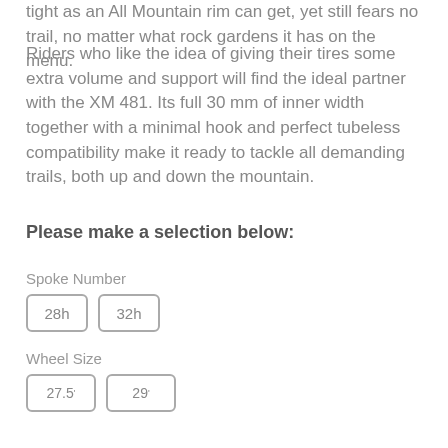tight as an All Mountain rim can get, yet still fears no trail, no matter what rock gardens it has on the menu.
Riders who like the idea of giving their tires some extra volume and support will find the ideal partner with the XM 481. Its full 30 mm of inner width together with a minimal hook and perfect tubeless compatibility make it ready to tackle all demanding trails, both up and down the mountain.
Please make a selection below:
Spoke Number
28h
32h
Wheel Size
27.5"
29"